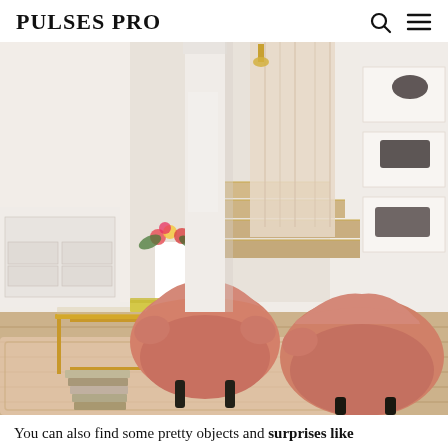PULSES PRO
[Figure (photo): Interior design photo of a stylish living room with two coral/salmon pink velvet armchairs on a patterned rug, a gold-framed glass coffee table with books and a flower arrangement, white built-in shelving on the right, wooden stairs in the background, and cream curtains.]
You can also find some pretty objects and surprises like